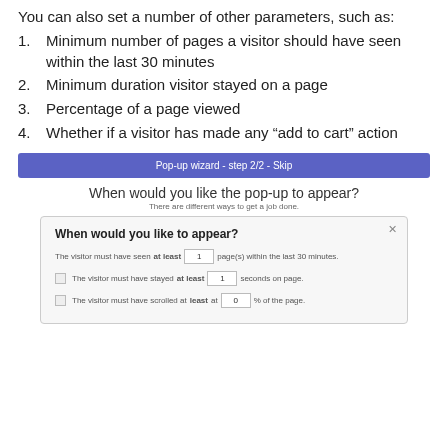You can also set a number of other parameters, such as:
Minimum number of pages a visitor should have seen within the last 30 minutes
Minimum duration visitor stayed on a page
Percentage of a page viewed
Whether if a visitor has made any “add to cart” action
[Figure (screenshot): Pop-up wizard step 2/2 with blue header bar, title 'When would you like the pop-up to appear?', subtitle 'There are different ways to get a job done.', and a modal dialog showing 'When would you like to appear?' with fields for visitor page count, seconds on page, and scroll percentage.]